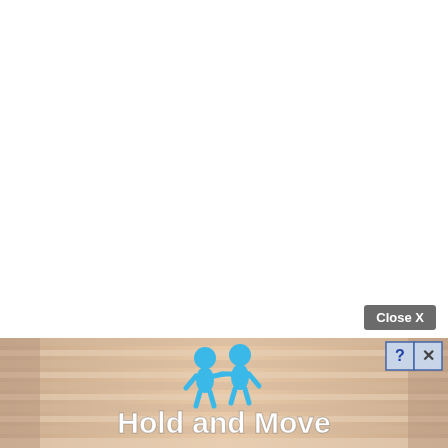[Figure (screenshot): Close X button (grey rounded rectangle with white text) positioned near bottom right of mostly white page]
[Figure (screenshot): Ad banner at bottom of page showing a sandy/wooden lane background with two blue 3D human figures and bold white text 'Hold and Move', with question mark and X icon buttons in top right corner]